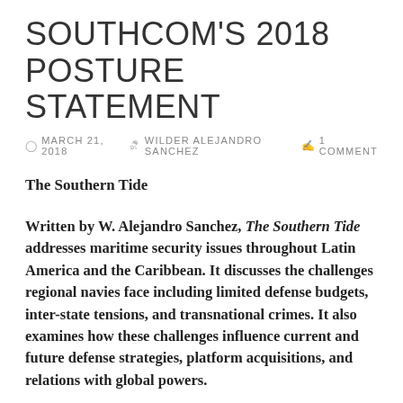SOUTHCOM'S 2018 POSTURE STATEMENT
MARCH 21, 2018  WILDER ALEJANDRO SANCHEZ  1 COMMENT
The Southern Tide
Written by W. Alejandro Sanchez, The Southern Tide addresses maritime security issues throughout Latin America and the Caribbean. It discusses the challenges regional navies face including limited defense budgets, inter-state tensions, and transnational crimes. It also examines how these challenges influence current and future defense strategies, platform acquisitions, and relations with global powers.